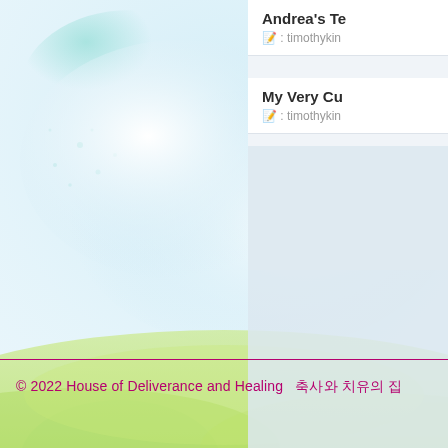[Figure (illustration): Watercolor-style background illustration of a blue sky with white clouds and green meadow/grass at the bottom, soft pastel palette.]
Andrea's Te
블로그 : timothykin
My Very Cu
블로그 : timothykin
© 2022 House of Deliverance and Healing   축사와 치유의 집